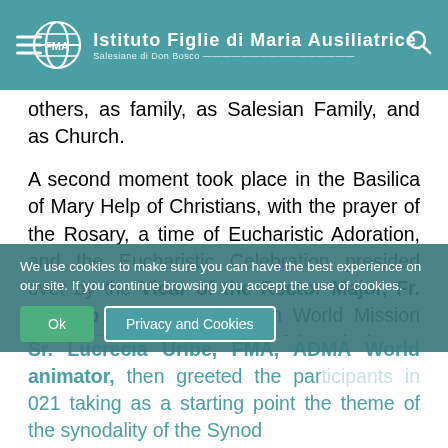Istituto Figlie di Maria Ausiliatrice — Salesiane di Don Bosco
others, as family, as Salesian Family, and as Church.
A second moment took place in the Basilica of Mary Help of Christians, with the prayer of the Rosary, a time of Eucharistic Adoration, and the Eucharistic Celebration presided over by the Vicar of the Rector Major, Fr. Stefano Martoglio who, on World Mission Day, highlighted the aspect of the missionary spirit in the experience of the ADMA Association. Spreading devotion to Mary Help of Christians and the Eucharist is the specific mission of ADMA, which brings the lymph to the universal mission of the Church.
Sr. Lucrecia Uribe, FMA, ADMA World animator, then greeted the participants in 2021 taking as a starting point the theme of the synodality of the Synod